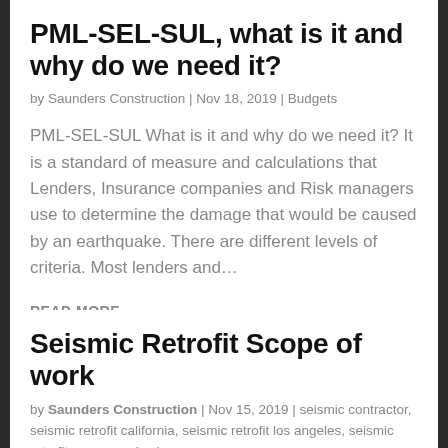PML-SEL-SUL, what is it and why do we need it?
by Saunders Construction | Nov 18, 2019 | Budgets
PML-SEL-SUL What is it and why do we need it? It is a standard of measure and calculations that Lenders, Insurance companies and Risk managers use to determine the damage that would be caused by an earthquake. There are different levels of criteria. Most lenders and…
READ MORE
Seismic Retrofit Scope of work
by Saunders Construction | Nov 15, 2019 | seismic contractor, seismic retrofit california, seismic retrofit los angeles, seismic retrofit oregon, seismic